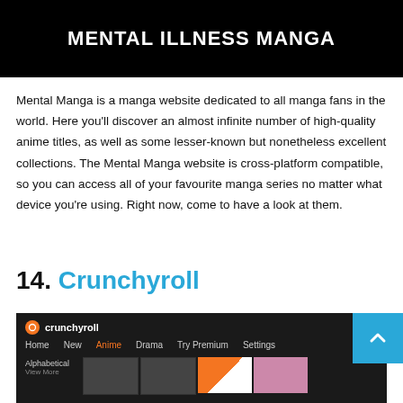[Figure (screenshot): Black banner with bold white uppercase text reading MENTAL ILLNESS MANGA]
MENTAL ILLNESS MANGA
Mental Manga is a manga website dedicated to all manga fans in the world. Here you'll discover an almost infinite number of high-quality anime titles, as well as some lesser-known but nonetheless excellent collections. The Mental Manga website is cross-platform compatible, so you can access all of your favourite manga series no matter what device you're using. Right now, come to have a look at them.
14. Crunchyroll
[Figure (screenshot): Screenshot of the Crunchyroll website showing dark navigation bar with logo, menu items Home, New, Anime (highlighted in orange), Drama, Try Premium, Settings, and below an Alphabetical section with anime thumbnail images]